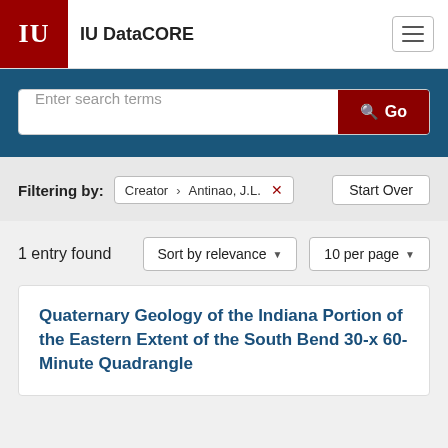IU DataCORE
Enter search terms  Go
Filtering by: Creator > Antinao, J.L.  Start Over
1 entry found   Sort by relevance   10 per page
Quaternary Geology of the Indiana Portion of the Eastern Extent of the South Bend 30-x 60-Minute Quadrangle